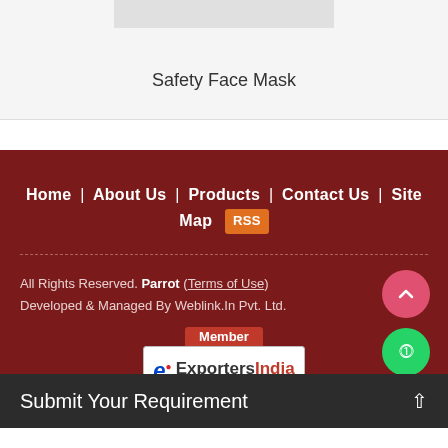Safety Face Mask
Home | About Us | Products | Contact Us | Site Map RSS
All Rights Reserved. Parrot (Terms of Use) Developed & Managed By Weblink.In Pvt. Ltd.
[Figure (logo): ExportersIndia member logo with 'e' icon and text ExportersIndia]
Submit Your Requirement